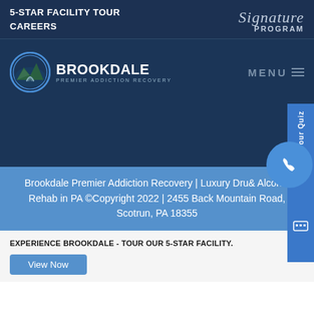5-STAR FACILITY TOUR  CAREERS  Signature Program
[Figure (logo): Brookdale Premier Addiction Recovery circular logo with mountain and road landscape, with text BROOKDALE PREMIER ADDICTION RECOVERY]
MENU
[Figure (other): Vertical sidebar tab with text 'Take our Quiz' and phone call button circle and chat button]
Brookdale Premier Addiction Recovery | Luxury Drug & Alcohol Rehab in PA ©Copyright 2022 | 2455 Back Mountain Road, Scotrun, PA 18355
EXPERIENCE BROOKDALE - TOUR OUR 5-STAR FACILITY.
View Now